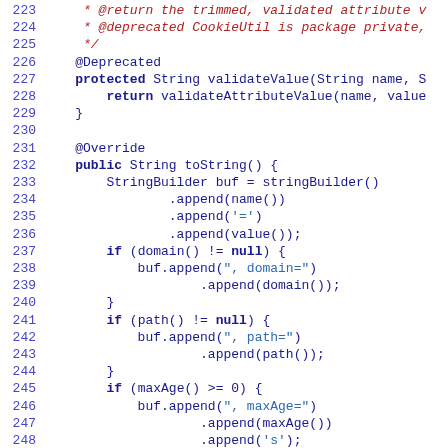Code listing lines 223-250, Java source code showing validateValue method and toString method implementation